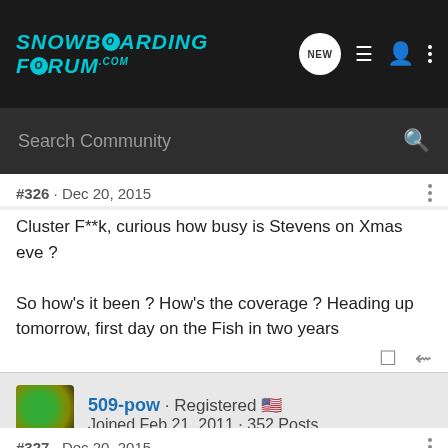SNOWBOARDING FORUM.com
Search Community
#326 · Dec 20, 2015
Cluster F**k, curious how busy is Stevens on Xmas eve ?

So how's it been ? How's the coverage ? Heading up tomorrow, first day on the Fish in two years
509-pow · Registered
Joined Feb 21, 2011 · 352 Posts
#327 · Dec 20, 2015